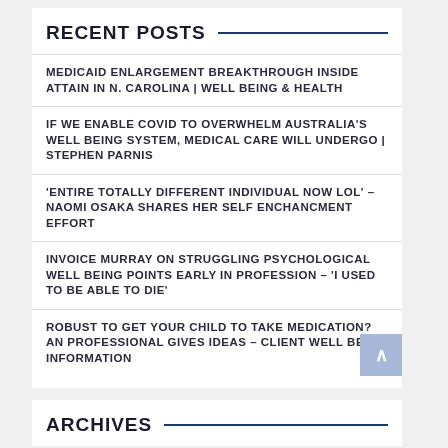RECENT POSTS
MEDICAID ENLARGEMENT BREAKTHROUGH INSIDE ATTAIN IN N. CAROLINA | WELL BEING & HEALTH
IF WE ENABLE COVID TO OVERWHELM AUSTRALIA'S WELL BEING SYSTEM, MEDICAL CARE WILL UNDERGO | STEPHEN PARNIS
'ENTIRE TOTALLY DIFFERENT INDIVIDUAL NOW LOL' – NAOMI OSAKA SHARES HER SELF ENCHANCMENT EFFORT
INVOICE MURRAY ON STRUGGLING PSYCHOLOGICAL WELL BEING POINTS EARLY IN PROFESSION – 'I USED TO BE ABLE TO DIE'
ROBUST TO GET YOUR CHILD TO TAKE MEDICATION? AN PROFESSIONAL GIVES IDEAS – CLIENT WELL BEING INFORMATION
ARCHIVES